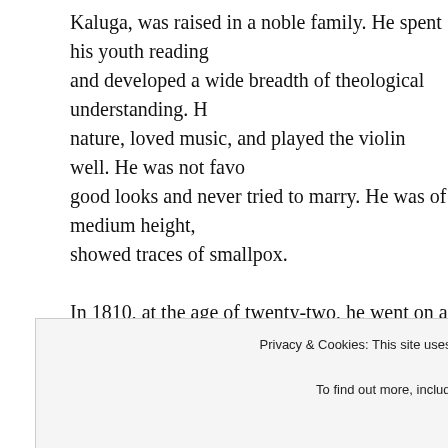Kaluga, was raised in a noble family. He spent his youth reading and developed a wide breadth of theological understanding. He nature, loved music, and played the violin well. He was not favo good looks and never tried to marry. He was of medium height, showed traces of smallpox.

In 1810, at the age of twenty-two, he went on a pilgrimage to th Ploshchansk Hermitage and at this time decided to dedicate h God. Here Michael came under the obedience of Fr. Athanassy, St. Paisius Velichkovsky. In 1815, he was tonsured a monk and gi name Macarius after St. Macarius the Great. In 1824, his elder was sent to be the confessor of the Svensk women's monastery. Svensk that Fr. Macarius met Elder Leonid. He asked Elder Leo
Privacy & Cookies: This site uses cookies. By continuing to use this website, you agree to their use.
To find out more, including how to control cookies, see here: Cookie Policy
Close and accept